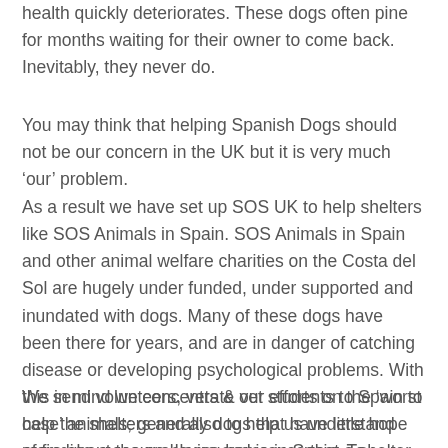health quickly deteriorates. These dogs often pine for months waiting for their owner to come back. Inevitably, they never do.
You may think that helping Spanish Dogs should not be our concern in the UK but it is very much ‘our’ problem.
As a result we have set up SOS UK to help shelters like SOS Animals in Spain. SOS Animals in Spain and other animal welfare charities on the Costa del Sol are hugely under funded, under supported and inundated with dogs. Many of these dogs have been there for years, and are in danger of catching disease or developing psychological problems. With this in mind we concentrate our efforts on the ‘worst case’ animals; generally dogs that have little hope of finding a secure, loving home in Spain. To rescue, rehabilitate & re-home theses  neglected animals is our aim.
We send volunteers, vets & vet students to Spain to help the shelters and also to help us understand more about the problems and issues that a shelter has to face on a day-to-